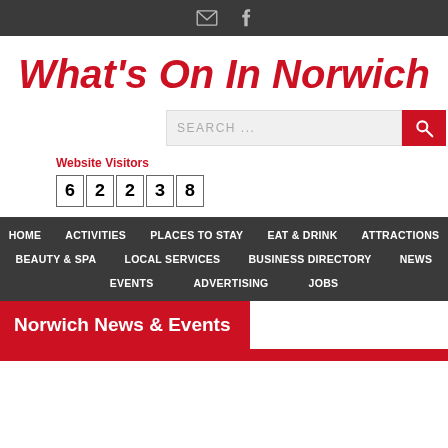Email and Facebook icons
What's On In Norwich
SEARCH ...
Website Visitors 62238
HOME
ACTIVITIES
PLACES TO STAY
EAT & DRINK
ATTRACTIONS
BEAUTY & SPA
LOCAL SERVICES
BUSINESS DIRECTORY
NEWS
EVENTS
ADVERTISING
JOBS
Norwich News & Events